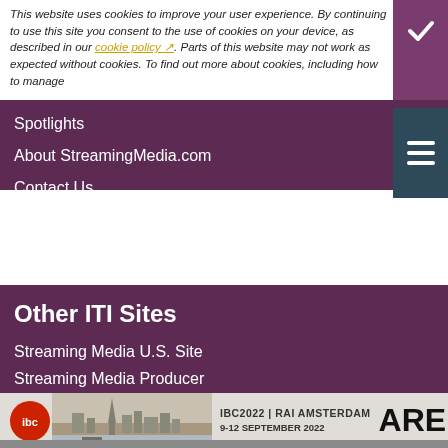This website uses cookies to improve your user experience. By continuing to use this site you consent to the use of cookies on your device, as described in our cookie policy. Parts of this website may not work as expected without cookies. To find out more about cookies, including how to manage and delete them visit www.aboutcookies.org or www.allaboutcookies.org
Spotlights
About StreamingMedia.com
Contact Us
Other ITI Sites
Streaming Media U.S. Site
Streaming Media Producer
Database Trends and Applications
DestinationCRM
Faulkner Information Services
Information Today Corporate
InfoToday.com
[Figure (screenshot): IBC2022 advertisement banner: IBC logo, Amsterdam cityscape image, text IBC2022 | RAI AMSTERDAM 9-12 SEPTEMBER 2022, ARE YO...]